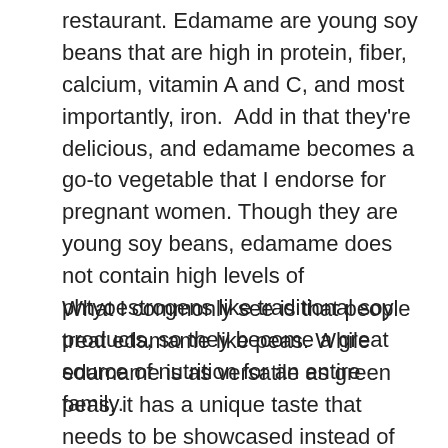restaurant. Edamame are young soy beans that are high in protein, fiber, calcium, vitamin A and C, and most importantly, iron.  Add in that they're delicious, and edamame becomes a go-to vegetable that I endorse for pregnant women. Though they are young soy beans, edamame does not contain high levels of phtyoestrogens like traditional soy products, so they become a great source of nutrition for an entire family.
What I commonly see is that people treat edamame like peas. While edamame is as versatile as green peas, it has a unique taste that needs to be showcased instead of being put in the background like peas. Edamame needs to be front and center with their unique taste and texture. What's even